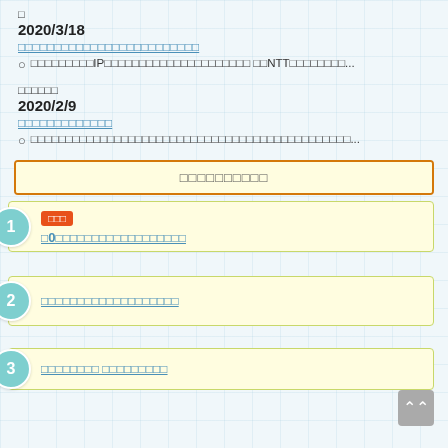□
2020/3/18
□□□□□□□□□□□□□□□□□□□□□□□□□
○ □□□□□□□□□IP□□□□□□□□□□□□□□□□□□□□□ □□NTT□□□□□□□□...
□□□□□□
2020/2/9
□□□□□□□□□□□□□
○ □□□□□□□□□□□□□□□□□□□□□□□□□□□□□□□□□□□□□□□□□□□□□□...
□□□□□□□□□□
1 □□□ □0□□□□□□□□□□□□□□□□□□
2 □□□□□□□□□□□□□□□□□□□
3 □□□□□□□□ □□□□□□□□□